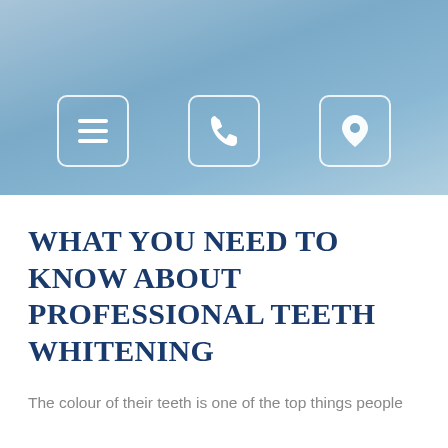[Figure (screenshot): Blue gradient header banner with three icon buttons: a hamburger menu icon, a phone icon, and a location pin icon, each inside a rounded rectangle border]
WHAT YOU NEED TO KNOW ABOUT PROFESSIONAL TEETH WHITENING
The colour of their teeth is one of the top things people